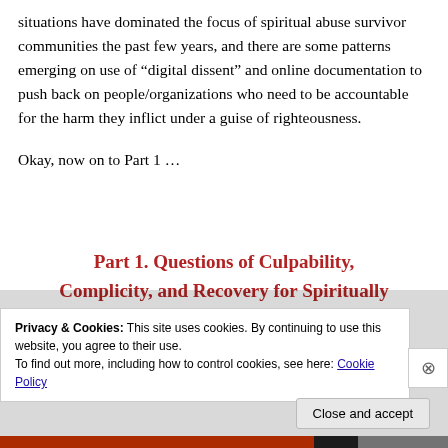situations have dominated the focus of spiritual abuse survivor communities the past few years, and there are some patterns emerging on use of “digital dissent” and online documentation to push back on people/organizations who need to be accountable for the harm they inflict under a guise of righteousness.
Okay, now on to Part 1 …
Part 1. Questions of Culpability, Complicity, and Recovery for Spiritually
Privacy & Cookies: This site uses cookies. By continuing to use this website, you agree to their use.
To find out more, including how to control cookies, see here: Cookie Policy
Close and accept